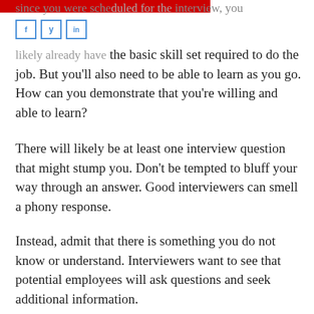since you were scheduled for the interview, you likely already have the basic skill set required to do the job. But you'll also need to be able to learn as you go. How can you demonstrate that you're willing and able to learn?
There will likely be at least one interview question that might stump you. Don't be tempted to bluff your way through an answer. Good interviewers can smell a phony response.
Instead, admit that there is something you do not know or understand. Interviewers want to see that potential employees will ask questions and seek additional information.